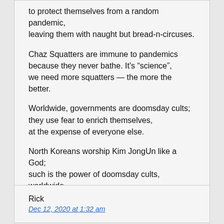to protect themselves from a random pandemic, leaving them with naught but bread-n-circuses.
Chaz Squatters are immune to pandemics because they never bathe. It’s “science”, we need more squatters — the more the better.
Worldwide, governments are doomsday cults; they use fear to enrich themselves, at the expense of everyone else.
North Koreans worship Kim JongUn like a God; such is the power of doomsday cults, worldwide, — Kool-Aid is mighty tasty.
Rick
Dec 12, 2020 at 1:32 am